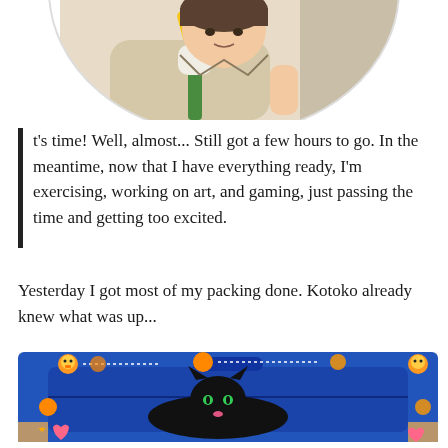[Figure (illustration): Anime character illustration showing a person in a beige jacket with a green tie, holding something, with yellow/gold objects visible in the background. Cropped circular/oval shape at top of page.]
t's time! Well, almost... Still got a few hours to go. In the meantime, now that I have everything ready, I'm exercising, working on art, and gaming, just passing the time and getting too excited.
Yesterday I got most of my packing done. Kotoko already knew what was up...
[Figure (photo): Photo of a black cat lying on top of a blue suitcase on a wooden floor. The photo is decorated with cute orange fruit/chick stickers and dotted line decorations around the border.]